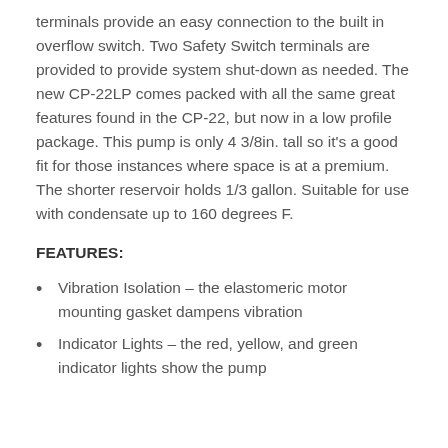terminals provide an easy connection to the built in overflow switch. Two Safety Switch terminals are provided to provide system shut-down as needed. The new CP-22LP comes packed with all the same great features found in the CP-22, but now in a low profile package. This pump is only 4 3/8in. tall so it's a good fit for those instances where space is at a premium. The shorter reservoir holds 1/3 gallon. Suitable for use with condensate up to 160 degrees F.
FEATURES:
Vibration Isolation – the elastomeric motor mounting gasket dampens vibration
Indicator Lights – the red, yellow, and green indicator lights show the pump